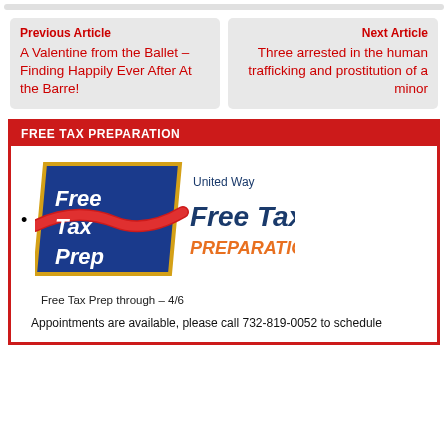Previous Article
A Valentine from the Ballet – Finding Happily Ever After At the Barre!
Next Article
Three arrested in the human trafficking and prostitution of a minor
FREE TAX PREPARATION
[Figure (logo): United Way Free Tax Preparation logo with blue diamond shape and red swoosh, with 'Free Tax Prep' text inside and 'United Way Free Tax Preparation' text to the right]
Free Tax Prep through – 4/6
Appointments are available, please call 732-819-0052 to schedule